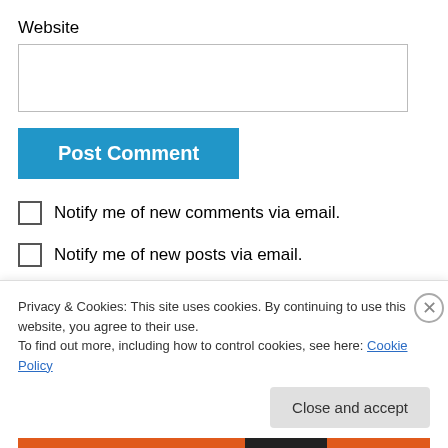Website
Post Comment
Notify me of new comments via email.
Notify me of new posts via email.
Privacy & Cookies: This site uses cookies. By continuing to use this website, you agree to their use. To find out more, including how to control cookies, see here: Cookie Policy
Close and accept